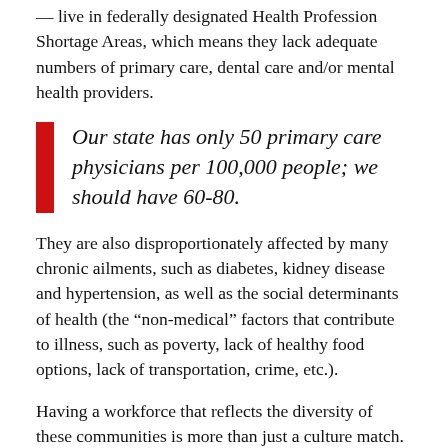— live in federally designated Health Profession Shortage Areas, which means they lack adequate numbers of primary care, dental care and/or mental health providers.
Our state has only 50 primary care physicians per 100,000 people; we should have 60-80.
They are also disproportionately affected by many chronic ailments, such as diabetes, kidney disease and hypertension, as well as the social determinants of health (the “non-medical” factors that contribute to illness, such as poverty, lack of healthy food options, lack of transportation, crime, etc.).
Having a workforce that reflects the diversity of these communities is more than just a culture match. Studies show that